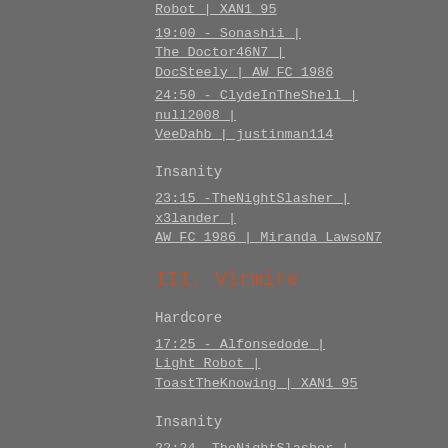Robot | XAN1_95
19:00 - Sonashii | The_Doctor46N7 | DocSteely | AW_FC_1986
24:50 - ClydeInTheShell | null2008 | VeeDahb | justinman114
Insanity
23:15 -TheNightSlasher | x3lander | AW_FC_1986 | Miranda_LawsoN7
III. Virmire
Hardcore
17:25 - Alfonsedode | Light_Robot | ToastTheKnowing | XAN1_95
Insanity
22:24 -TheNightSlasher | x3lander |